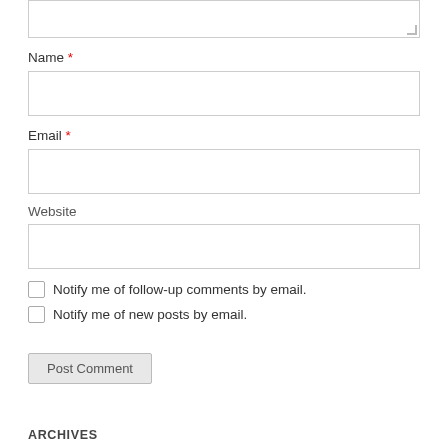[Figure (screenshot): Partial textarea form field at top of page with resize handle visible]
Name *
[Figure (screenshot): Name input text field (empty)]
Email *
[Figure (screenshot): Email input text field (empty)]
Website
[Figure (screenshot): Website input text field (empty)]
Notify me of follow-up comments by email.
Notify me of new posts by email.
Post Comment
ARCHIVES